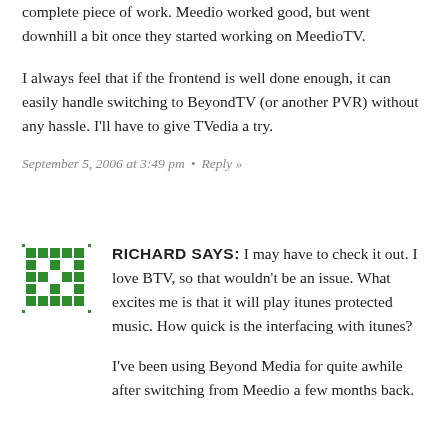complete piece of work. Meedio worked good, but went downhill a bit once they started working on MeedioTV.
I always feel that if the frontend is well done enough, it can easily handle switching to BeyondTV (or another PVR) without any hassle. I'll have to give TVedia a try.
September 5, 2006 at 3:49 pm  •  Reply »
[Figure (illustration): Green pixel/mosaic avatar icon for user Richard]
RICHARD SAYS: I may have to check it out. I love BTV, so that wouldn't be an issue. What excites me is that it will play itunes protected music. How quick is the interfacing with itunes?
I've been using Beyond Media for quite awhile after switching from Meedio a few months back.